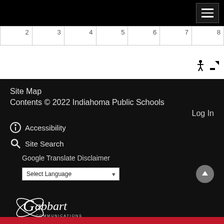[Figure (screenshot): Black top navigation bar with hamburger menu button (three white lines on dark background)]
| 2 | 3 | 4 | 5 | 6 | 7 | 8 |
[Figure (other): Wheelchair accessibility icon and expand/resize arrow icon]
Site Map
Contents © 2022 Indiahoma Public Schools
Log In
Accessibility
Site Search
Google Translate Disclaimer
Select Language
[Figure (logo): Gabbart Communications logo - white script text with orbital graphic on black background]